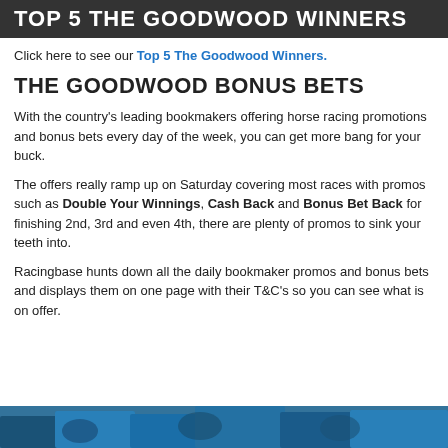TOP 5 THE GOODWOOD WINNERS
Click here to see our Top 5 The Goodwood Winners.
THE GOODWOOD BONUS BETS
With the country's leading bookmakers offering horse racing promotions and bonus bets every day of the week, you can get more bang for your buck.
The offers really ramp up on Saturday covering most races with promos such as Double Your Winnings, Cash Back and Bonus Bet Back for finishing 2nd, 3rd and even 4th, there are plenty of promos to sink your teeth into.
Racingbase hunts down all the daily bookmaker promos and bonus bets and displays them on one page with their T&C's so you can see what is on offer.
[Figure (photo): Partial image of horse racing scene at the bottom of the page]